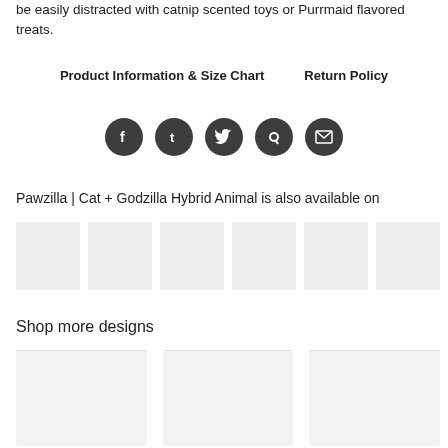be easily distracted with catnip scented toys or Purrmaid flavored treats.
Product Information & Size Chart    Return Policy
[Figure (other): Social media share icons: Facebook, Tumblr, Twitter, Pinterest, Email — dark circular buttons]
Pawzilla | Cat + Godzilla Hybrid Animal is also available on
[Figure (other): Row of six product thumbnail placeholder images (light grey boxes)]
Shop more designs
[Figure (other): Three design product thumbnail placeholder images (light grey boxes)]